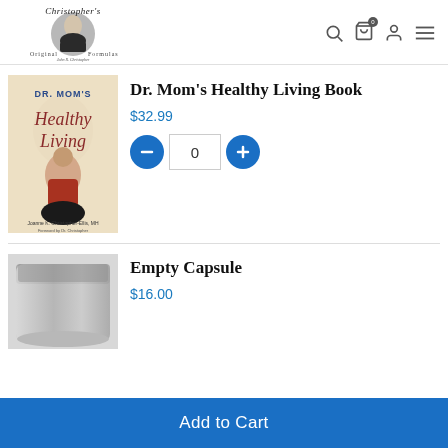[Figure (logo): Christopher's Original Formulas logo with man in suit portrait]
[Figure (photo): Dr. Mom's Healthy Living Book cover showing a woman with a child]
Dr. Mom's Healthy Living Book
$32.99
[Figure (other): Quantity selector with minus button, 0, and plus button]
[Figure (photo): Empty Capsule product in silver mylar pouch]
Empty Capsule
$16.00
Add to Cart